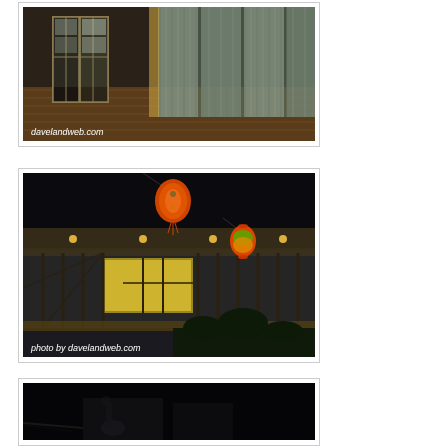[Figure (photo): Interior room with wooden floors, open French doors, and curtained glass panels. Watermark: davelandweb.com]
[Figure (photo): Night exterior of a building with balcony, ornate iron railings, glowing yellow windows, and hanging Chinese lanterns. Watermark: photo by davelandweb.com]
[Figure (photo): Very dark night scene, mostly black with faint outlines of figures or structures.]